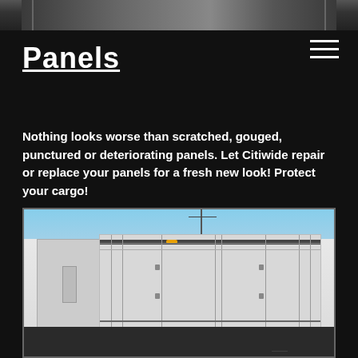[Figure (photo): Top portion of a truck/trailer image cropped at the top of the page]
Panels
Nothing looks worse than scratched, gouged, punctured or deteriorating panels. Let Citiwide repair or replace your panels for a fresh new look! Protect your cargo!
[Figure (photo): White truck trailer body panels photographed outdoors in a lot, showing the side and rear doors of the truck box body]